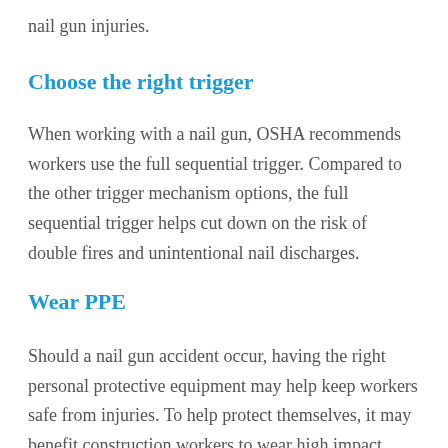nail gun injuries.
Choose the right trigger
When working with a nail gun, OSHA recommends workers use the full sequential trigger. Compared to the other trigger mechanism options, the full sequential trigger helps cut down on the risk of double fires and unintentional nail discharges.
Wear PPE
Should a nail gun accident occur, having the right personal protective equipment may help keep workers safe from injuries. To help protect themselves, it may benefit construction workers to wear high impact safety glasses or goggles,